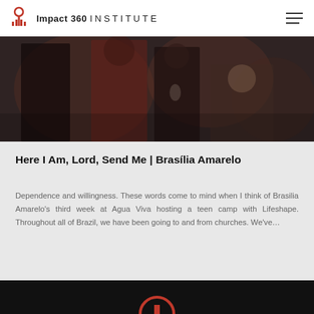Impact 360 INSTITUTE
[Figure (photo): Photograph of people at an event, dimly lit, with someone in a red shirt visible in the background]
Here I Am, Lord, Send Me | Brasília Amarelo
Dependence and willingness. These words come to mind when I think of Brasilia Amarelo's third week at Agua Viva hosting a teen camp with Lifeshape. Throughout all of Brazil, we have been going to and from churches. We've...